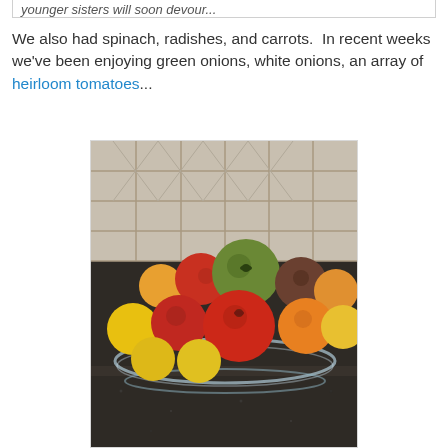younger sisters will soon devour...
We also had spinach, radishes, and carrots.  In recent weeks we've been enjoying green onions, white onions, an array of heirloom tomatoes...
[Figure (photo): A bowl of colorful heirloom tomatoes of various sizes and colors (red, orange, yellow, green) arranged on what appears to be a dark granite countertop with a tile backsplash visible in the background.]